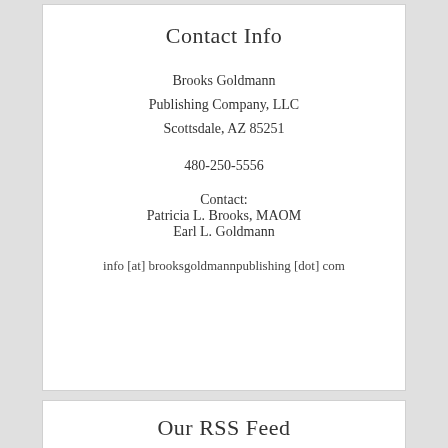Contact Info
Brooks Goldmann
Publishing Company, LLC
Scottsdale, AZ 85251
480-250-5556
Contact:
Patricia L. Brooks, MAOM
Earl L. Goldmann
info [at] brooksgoldmannpublishing [dot] com
Our RSS Feed